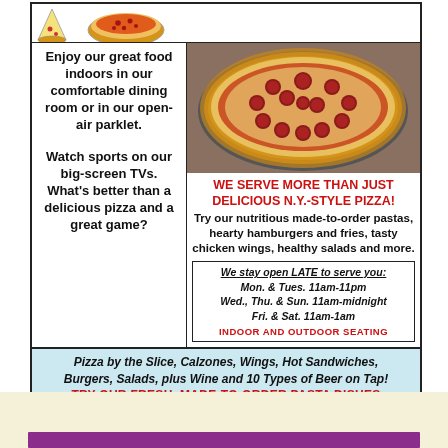[Figure (illustration): Cartoon pizza slice and pizza illustrations at top of ad]
Enjoy our great food indoors in our comfortable dining room or in our open-air parklet.
Watch sports on our big-screen TVs. What's better than a delicious pizza and a great game?
[Figure (photo): Photo of a pepperoni pizza on a metal pan]
WE SERVE MORE THAN JUST DELICIOUS N.Y.-STYLE PIZZA! Try our nutritious made-to-order pastas, hearty hamburgers and fries, tasty chicken wings, healthy salads and more.
We stay open LATE to serve you: Mon. & Tues. 11am-11pm Wed., Thu. & Sun. 11am-midnight Fri. & Sat. 11am-1am INDOOR AND OUTDOOR SEATING
Pizza by the Slice, Calzones, Wings, Hot Sandwiches, Burgers, Salads, plus Wine and 10 Types of Beer on Tap! TRY OUR FRESH, MADE-TO-ORDER PASTA DISHES